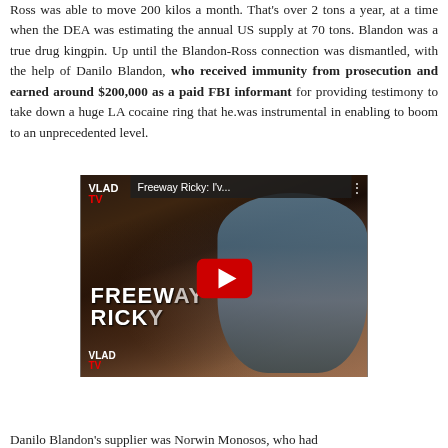Ross was able to move 200 kilos a month. That's over 2 tons a year, at a time when the DEA was estimating the annual US supply at 70 tons. Blandon was a true drug kingpin. Up until the Blandon-Ross connection was dismantled, with the help of Danilo Blandon, who received immunity from prosecution and earned around $200,000 as a paid FBI informant for providing testimony to take down a huge LA cocaine ring that he.was instrumental in enabling to boom to an unprecedented level.
[Figure (screenshot): A YouTube video thumbnail showing a VladTV interview with Freeway Ricky. The thumbnail shows a man in a blue shirt with text 'FREEWAY RICKY' overlaid. The video title appears as 'Freeway Ricky: I'v...' in a dark banner. VladTV branding appears in the top-left and bottom-left corners. A red YouTube play button is centered on the image.]
Danilo Blandon's supplier was Norwin Monosos, who had